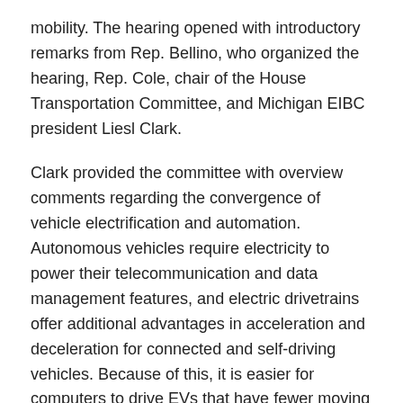mobility. The hearing opened with introductory remarks from Rep. Bellino, who organized the hearing, Rep. Cole, chair of the House Transportation Committee, and Michigan EIBC president Liesl Clark.
Clark provided the committee with overview comments regarding the convergence of vehicle electrification and automation. Autonomous vehicles require electricity to power their telecommunication and data management features, and electric drivetrains offer additional advantages in acceleration and deceleration for connected and self-driving vehicles. Because of this, it is easier for computers to drive EVs that have fewer moving parts and in EVs, the main components – battery, inverter, and electric motor – more easily communicate with each other. Because of Michigan's leadership in the automotive industry and the advanced battery industry, Michigan is well